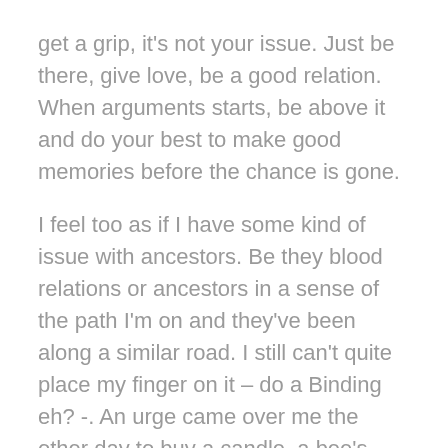get a grip, it's not your issue. Just be there, give love, be a good relation. When arguments starts, be above it and do your best to make good memories before the chance is gone.
I feel too as if I have some kind of issue with ancestors. Be they blood relations or ancestors in a sense of the path I'm on and they've been along a similar road. I still can't quite place my finger on it – do a Binding eh? -. An urge came over me the other day to buy a candle, a bee's wax candle, don't use those petroleum ones for the love of God because you may as well be sucking off a car's exhaust with them yokes. It would look nice on the mantlepiece and a nice way to remember them, even involve them over the Christ-a-mass, as it's called in Dublin, if that's possible? I don't